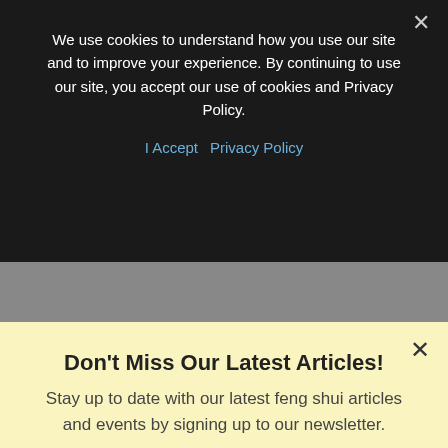We use cookies to understand how you use our site and to improve your experience. By continuing to use our site, you accept our use of cookies and Privacy Policy.
I Accept   Privacy Policy
Don't Miss Our Latest Articles!
Stay up to date with our latest feng shui articles and events by signing up to our newsletter.
Enter Your Email
SUBSCRIBE NOW
No thanks, I'm not interested